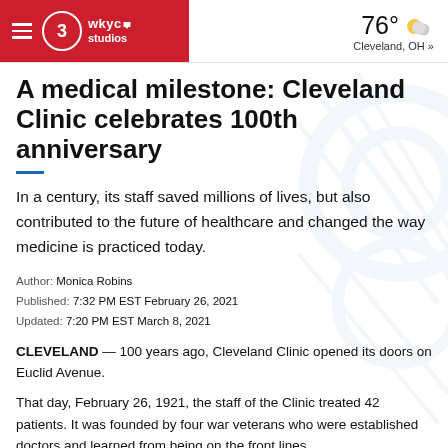WKYC Studios | 76° Cleveland, OH »
A medical milestone: Cleveland Clinic celebrates 100th anniversary
In a century, its staff saved millions of lives, but also contributed to the future of healthcare and changed the way medicine is practiced today.
Author: Monica Robins
Published: 7:32 PM EST February 26, 2021
Updated: 7:20 PM EST March 8, 2021
CLEVELAND — 100 years ago, Cleveland Clinic opened its doors on Euclid Avenue.
That day, February 26, 1921, the staff of the Clinic treated 42 patients. It was founded by four war veterans who were established doctors and learned from being on the front lines.